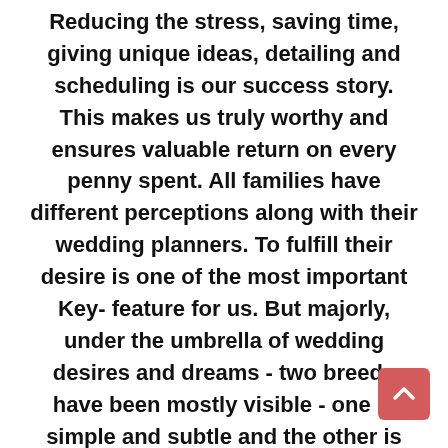Reducing the stress, saving time, giving unique ideas, detailing and scheduling is our success story. This makes us truly worthy and ensures valuable return on every penny spent. All families have different perceptions along with their wedding planners. To fulfill their desire is one of the most important Key-feature for us. But majorly, under the umbrella of wedding desires and dreams - two breeds have been mostly visible - one is simple and subtle and the other is flamboyant and stylish. For meticulous planning and budget balancing has been pretty successful in drawing an outline and finding the ideas from clients using their views or suggestions on guest profile. Whether it's a simple and gigantic wedding-sangeet stage or a lavish has reassured client satisfaction in